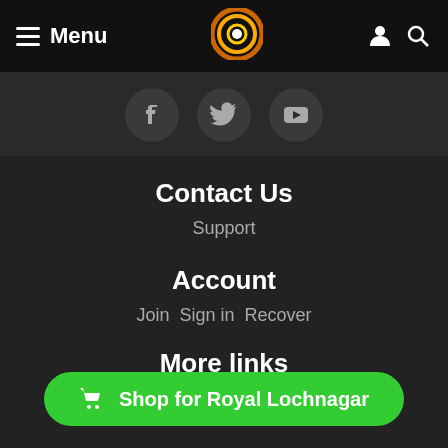≡ Menu
[Figure (logo): Circular logo with orange/gold ring and white center dot on black background]
[Figure (illustration): Social media icons: Facebook, Twitter, YouTube in dark circular buttons]
Contact Us
Support
Account
Join  Sign in  Recover
More links
Articles  Blog
🛒 Shop for Royal Lochnagar